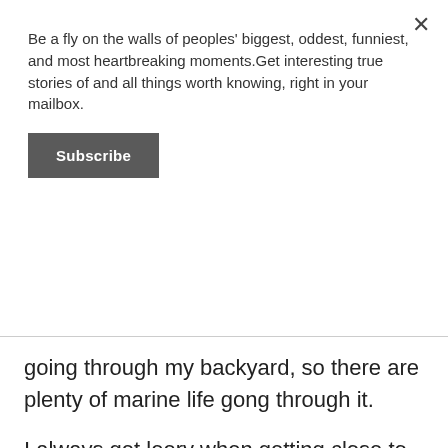Be a fly on the walls of peoples' biggest, oddest, funniest, and most heartbreaking moments.Get interesting true stories of and all things worth knowing, right in your mailbox.
Subscribe
going through my backyard, so there are plenty of marine life gong through it.
I always get leery when getting close to the drop-off where the water is, since we have snakes. At one lap, I see this black thing in the grass that I don't remember seeing the lap before this. When I get closer, it shoots up, and I realize then what it was. A Water Moccasin. It raised its head high, and I froze like a deer in